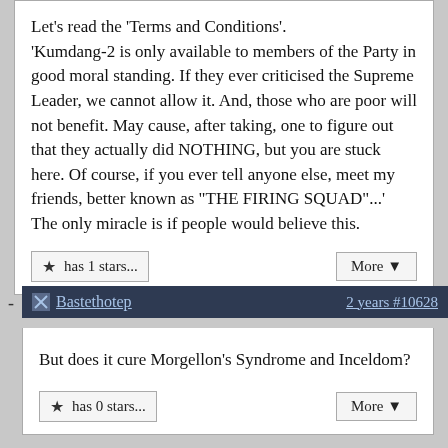Let's read the 'Terms and Conditions'. 'Kumdang-2 is only available to members of the Party in good moral standing. If they ever criticised the Supreme Leader, we cannot allow it. And, those who are poor will not benefit. May cause, after taking, one to figure out that they actually did NOTHING, but you are stuck here. Of course, if you ever tell anyone else, meet my friends, better known as "THE FIRING SQUAD"...' The only miracle is if people would believe this.
★ has 1 stars...
More ▼
Bastethotep  2 years #10628
But does it cure Morgellon's Syndrome and Inceldom?
★ has 0 stars...
More ▼